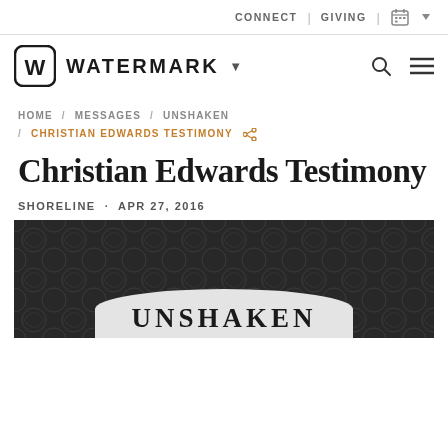CONNECT | GIVING |
[Figure (logo): Watermark community church logo with W in rounded square, brand name WATERMARK and dropdown arrow, plus search and hamburger menu icons]
HOME / MESSAGES / UNSHAKEN / CHRISTIAN EDWARDS TESTIMONY
Christian Edwards Testimony
SHORELINE · APR 27, 2016
[Figure (photo): Dark background with geometric patterns, white arc badge showing the word UNSHAKEN in bold serif uppercase letters]